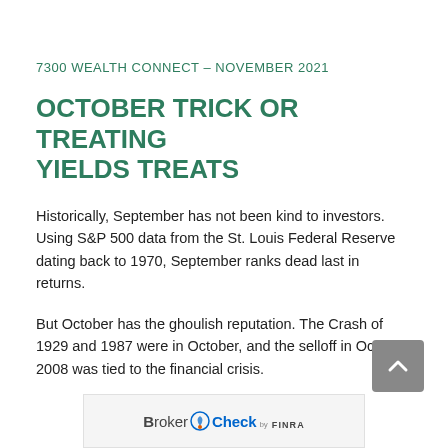7300 WEALTH CONNECT – NOVEMBER 2021
OCTOBER TRICK OR TREATING YIELDS TREATS
Historically, September has not been kind to investors. Using S&P 500 data from the St. Louis Federal Reserve dating back to 1970, September ranks dead last in returns.
But October has the ghoulish reputation. The Crash of 1929 and 1987 were in October, and the selloff in October 2008 was tied to the financial crisis.